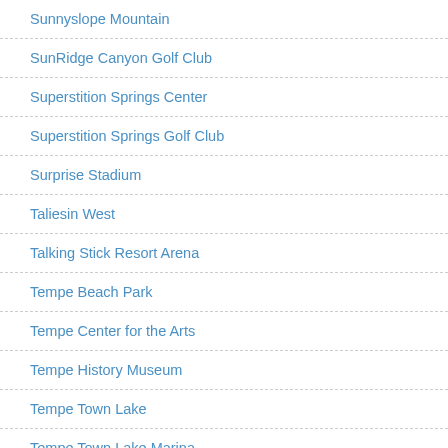Sunnyslope Mountain
SunRidge Canyon Golf Club
Superstition Springs Center
Superstition Springs Golf Club
Surprise Stadium
Taliesin West
Talking Stick Resort Arena
Tempe Beach Park
Tempe Center for the Arts
Tempe History Museum
Tempe Town Lake
Tempe Town Lake Marina